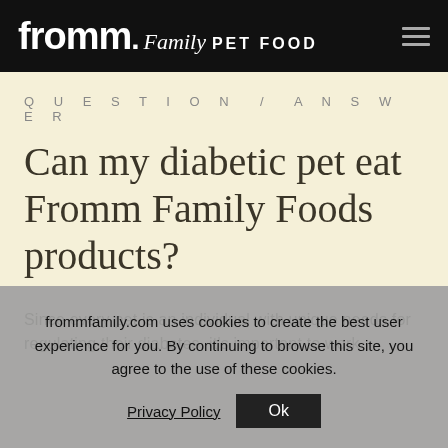fromm. Family PET FOOD
QUESTION / ANSWER
Can my diabetic pet eat Fromm Family Foods products?
Since every pet is an individual with unique needs for regulating their diabetes, it's important to work
frommfamily.com uses cookies to create the best user experience for you. By continuing to browse this site, you agree to the use of these cookies. Privacy Policy  Ok